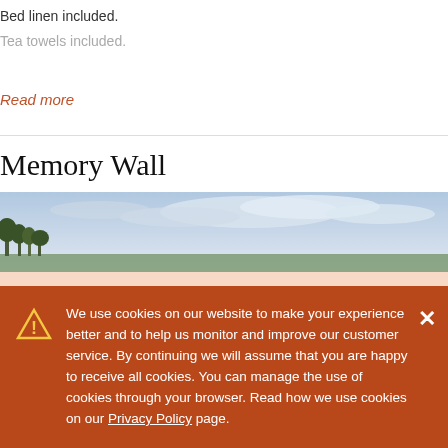Bed linen included.
Tea towels included.
Read more
Memory Wall
[Figure (photo): A wide panoramic landscape photo showing trees and a cloudy sky.]
We use cookies on our website to make your experience better and to help us monitor and improve our customer service. By continuing we will assume that you are happy to receive all cookies. You can manage the use of cookies through your browser. Read how we use cookies on our Privacy Policy page.